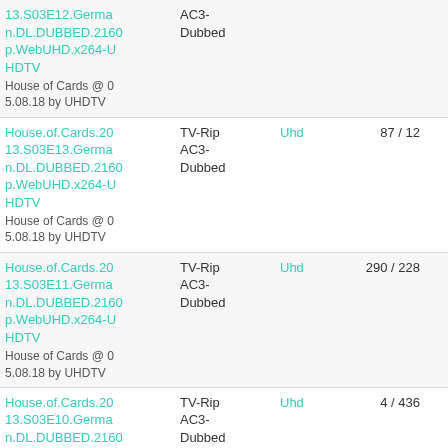| Title | Type | Category | Seeds/Leeches | Size |
| --- | --- | --- | --- | --- |
| House.of.Cards.2013.S03E12.German.DL.DUBBED.2160p.WebUHD.x264-UHDTV
House of Cards @ 05.08.18 by UHDTV | AC3-Dubbed |  |  | MB |
| House.of.Cards.2013.S03E13.German.DL.DUBBED.2160p.WebUHD.x264-UHDTV
House of Cards @ 05.08.18 by UHDTV | TV-Rip AC3-Dubbed | Uhd | 87 / 12 | 10269 MB |
| House.of.Cards.2013.S03E11.German.DL.DUBBED.2160p.WebUHD.x264-UHDTV
House of Cards @ 05.08.18 by UHDTV | TV-Rip AC3-Dubbed | Uhd | 290 / 228 | 10262 MB |
| House.of.Cards.2013.S03E10.German.DL.DUBBED.2160
House of Cards @ 05.08.18 by UHDTV | TV-Rip AC3-Dubbed | Uhd | 4 / 436 | 11626 MB |